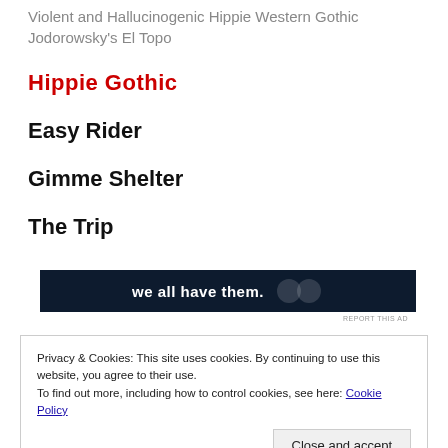Violent and Hallucinogenic Hippie Western Gothic Jodorowsky's El Topo
Hippie Gothic
Easy Rider
Gimme Shelter
The Trip
[Figure (other): Dark advertisement banner with white bold text 'we all have them.' and logo icons on right]
REPORT THIS AD
Privacy & Cookies: This site uses cookies. By continuing to use this website, you agree to their use.
To find out more, including how to control cookies, see here: Cookie Policy
Close and accept